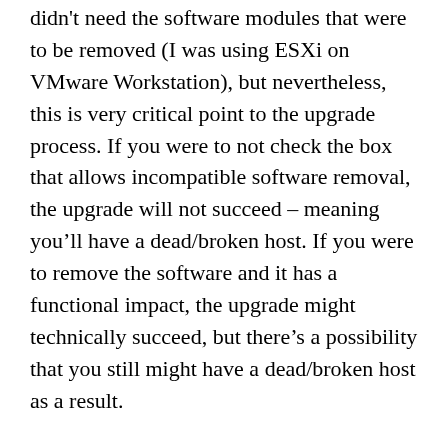didn't need the software modules that were to be removed (I was using ESXi on VMware Workstation), but nevertheless, this is very critical point to the upgrade process. If you were to not check the box that allows incompatible software removal, the upgrade will not succeed – meaning you'll have a dead/broken host. If you were to remove the software and it has a functional impact, the upgrade might technically succeed, but there's a possibility that you still might have a dead/broken host as a result.
PLEASE test thoroughly before running an ESXi 5 upgrade in a production or similarly important VMware environment.